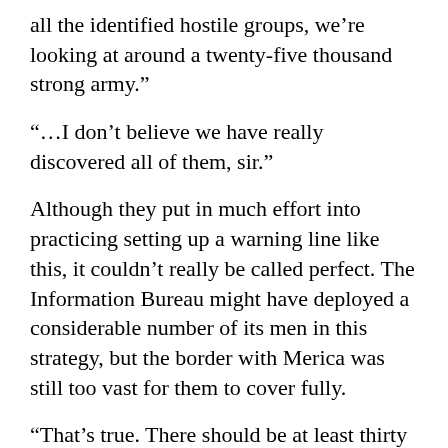all the identified hostile groups, we’re looking at around a twenty-five thousand strong army.”
“…I don’t believe we have really discovered all of them, sir.”
Although they put in much effort into practicing setting up a warning line like this, it couldn’t really be called perfect. The Information Bureau might have deployed a considerable number of its men in this strategy, but the border with Merica was still too vast for them to cover fully.
“That’s true. There should be at least thirty thousand on the lower and forty on the higher end of the estimation range, I guess?”
“Forty thousand… Isn’t that a bit too low, sir?”